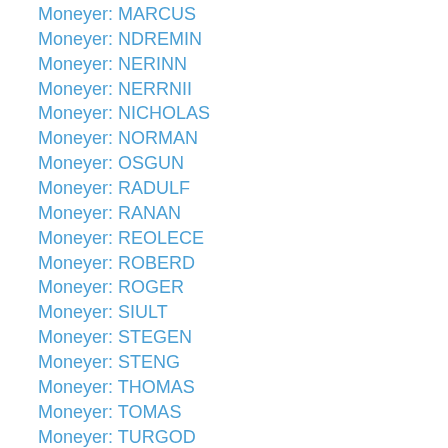Moneyer: MARCUS
Moneyer: NDREMIN
Moneyer: NERINN
Moneyer: NERRNII
Moneyer: NICHOLAS
Moneyer: NORMAN
Moneyer: OSGUN
Moneyer: RADULF
Moneyer: RANAN
Moneyer: REOLECE
Moneyer: ROBERD
Moneyer: ROGER
Moneyer: SIULT
Moneyer: STEGEN
Moneyer: STENG
Moneyer: THOMAS
Moneyer: TOMAS
Moneyer: TURGOD
Moneyer: Unknown
Moneyer: WACE